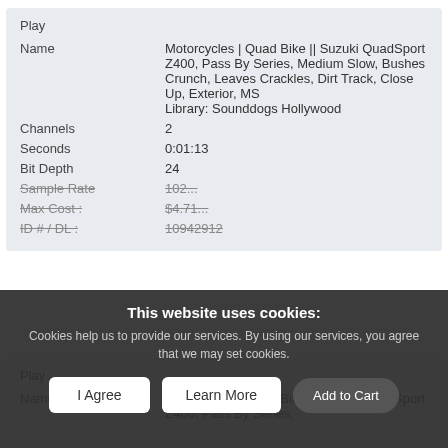Play
| Field | Value |
| --- | --- |
| Name | Motorcycles | Quad Bike || Suzuki QuadSport Z400, Pass By Series, Medium Slow, Bushes Crunch, Leaves Crackles, Dirt Track, Close Up, Exterior, MS
Library: Sounddogs Hollywood |
| Channels | 2 |
| Seconds | 0:01:13 |
| Bit Depth | 24 |
| Sample Rate | 102... |
| Max Cost : | $4.71... |
| ID # / DL : | 10942912 |
This website uses cookies: Cookies help us to provide our services. By using our services, you agree that we may set cookies.
I Agree
Learn More
Add to Cart
Play
Motorcycles | Quad Bike || Suzuki QuadSport Z400, Pass By Series,